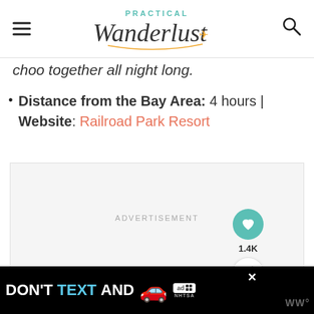Practical Wanderlust
choo together all night long.
Distance from the Bay Area: 4 hours | Website: Railroad Park Resort
[Figure (other): Advertisement placeholder box with text ADVERTISEMENT]
[Figure (other): Bottom banner advertisement: DON'T TEXT AND [car emoji] — ad badge with NHTSA logo, close button, and WW logo]
[Figure (other): Floating action buttons: heart (teal circle) with count 1.4K, share button. What's Next card showing thumbnail and title 'The 12 Best Weekend Tri...']